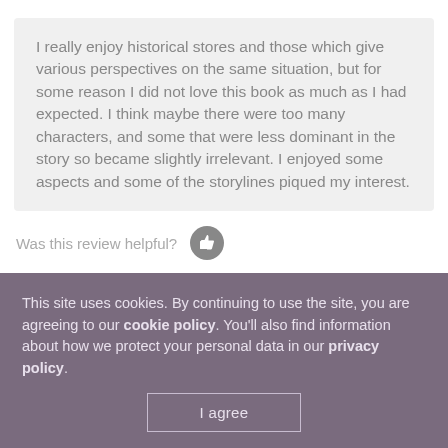I really enjoy historical stores and those which give various perspectives on the same situation, but for some reason I did not love this book as much as I had expected. I think maybe there were too many characters, and some that were less dominant in the story so became slightly irrelevant. I enjoyed some aspects and some of the storylines piqued my interest.
Was this review helpful?
Educator 786386
[Figure (other): Three filled gold stars and two outline stars representing a 3-star rating]
This site uses cookies. By continuing to use the site, you are agreeing to our cookie policy. You'll also find information about how we protect your personal data in our privacy policy.
I agree